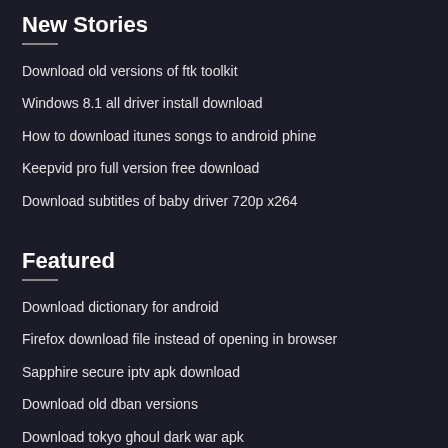New Stories
Download old versions of ftk toolkit
Windows 8.1 all driver install download
How to download itunes songs to android phine
Keepvid pro full version free download
Download subtitles of baby driver 720p x264
Featured
Download dictionary for android
Firefox download file instead of opening in browser
Sapphire secure iptv apk download
Download old dban versions
Download tokyo ghoul dark war apk